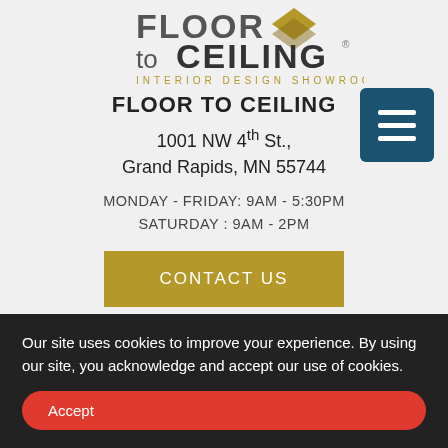[Figure (logo): Floor to Ceiling Interior Design Showroom logo with stylized text and diamond/arrow graphic]
FLOOR TO CEILING
1001 NW 4th St.,
Grand Rapids, MN 55744
MONDAY - FRIDAY: 9AM - 5:30PM
SATURDAY : 9AM - 2PM
CONTACT US
ABOUT FLOOR TO CEILING
Our site uses cookies to improve your experience. By using our site, you acknowledge and accept our use of cookies.
Accept